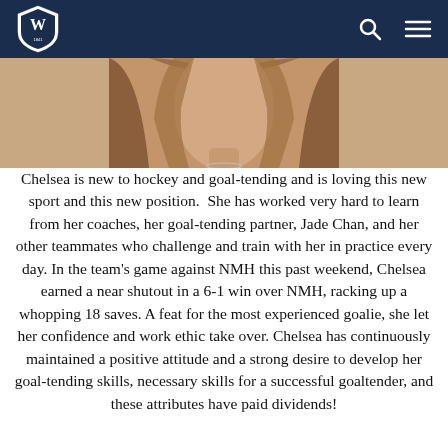W [shield logo] | search | menu
[Figure (photo): Partial photo of a young woman with long brown/blonde hair, cropped at chin level, wearing a necklace]
Chelsea is new to hockey and goal-tending and is loving this new sport and this new position.  She has worked very hard to learn from her coaches, her goal-tending partner, Jade Chan, and her other teammates who challenge and train with her in practice every day. In the team's game against NMH this past weekend, Chelsea earned a near shutout in a 6-1 win over NMH, racking up a whopping 18 saves. A feat for the most experienced goalie, she let her confidence and work ethic take over. Chelsea has continuously maintained a positive attitude and a strong desire to develop her goal-tending skills, necessary skills for a successful goaltender, and these attributes have paid dividends!